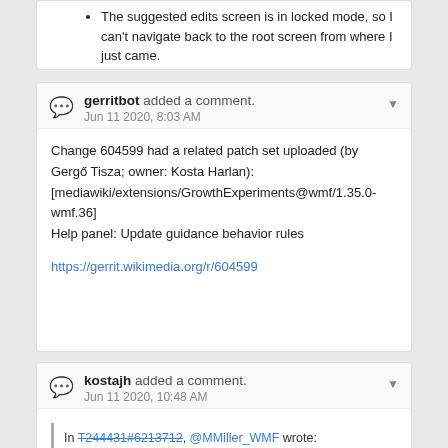The suggested edits screen is in locked mode, so I can't navigate back to the root screen from where I just came.
gerritbot added a comment.
Jun 11 2020, 8:03 AM
Change 604599 had a related patch set uploaded (by Gergő Tisza; owner: Kosta Harlan): [mediawiki/extensions/GrowthExperiments@wmf/1.35.0-wmf.36] Help panel: Update guidance behavior rules
https://gerrit.wikimedia.org/r/604599
kostajh added a comment.
Jun 11 2020, 10:48 AM
In T244431#6213712, @MMiller_WMF wrote: @kostajh (cc @Tgr @Catrope @Etonkovidova ) -- I just went through and tested on beta, and I think that new patch mostly puts us in a good place! Thank you for working on it. At this point,